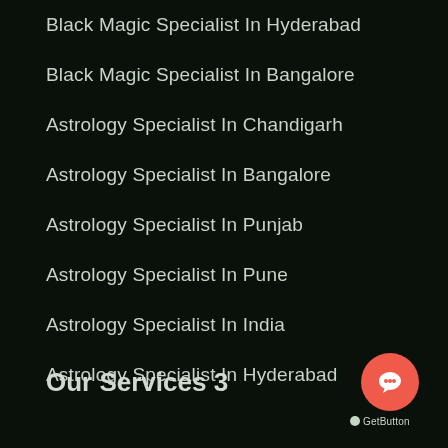Black Magic Specialist In Hyderabad
Black Magic Specialist In Bangalore
Astrology Specialist In Chandigarh
Astrology Specialist In Bangalore
Astrology Specialist In Punjab
Astrology Specialist In Pune
Astrology Specialist In India
Astrology Specialist In Hyderabad
Our Services 3
[Figure (logo): GetButton chat widget button - orange circle with chat icon and GetButton label]